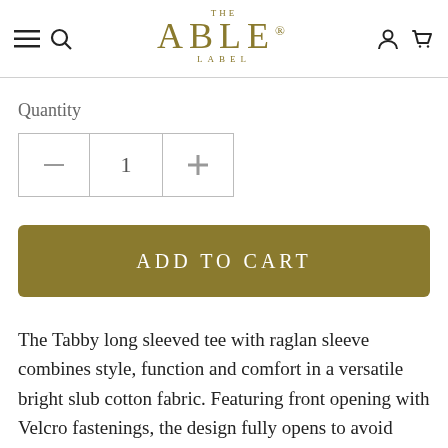THE ABLE® LABEL
Quantity
1
ADD TO CART
The Tabby long sleeved tee with raglan sleeve combines style, function and comfort in a versatile bright slub cotton fabric. Featuring front opening with Velcro fastenings, the design fully opens to avoid